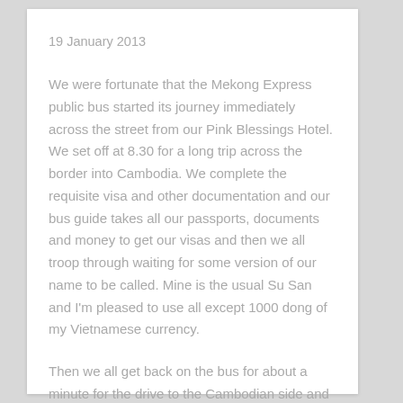19 January 2013
We were fortunate that the Mekong Express public bus started its journey immediately across the street from our Pink Blessings Hotel. We set off at 8.30 for a long trip across the border into Cambodia. We complete the requisite visa and other documentation and our bus guide takes all our passports, documents and money to get our visas and then we all troop through waiting for some version of our name to be called. Mine is the usual Su San and I'm pleased to use all except 1000 dong of my Vietnamese currency.
Then we all get back on the bus for about a minute for the drive to the Cambodian side and all troop off again to go through immigration control and have our fingerprints taken. We all